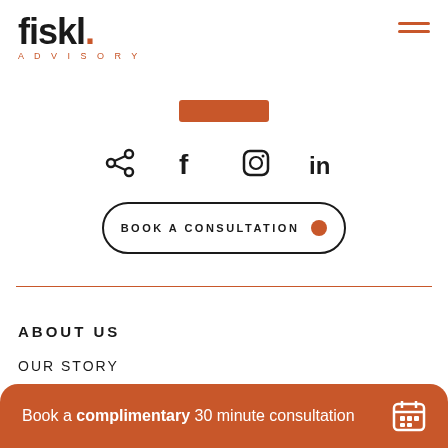[Figure (logo): fiskl. ADVISORY logo with orange dot and orange ADVISORY text]
[Figure (other): Hamburger menu icon with two orange horizontal lines]
[Figure (other): Orange rectangle bar/button]
[Figure (other): Social media icons row: share, Facebook, Instagram, LinkedIn]
[Figure (other): BOOK A CONSULTATION button with rounded border and orange dot]
[Figure (other): Horizontal orange divider line]
ABOUT US
OUR STORY
MEET THE TEAM
Book a complimentary 30 minute consultation